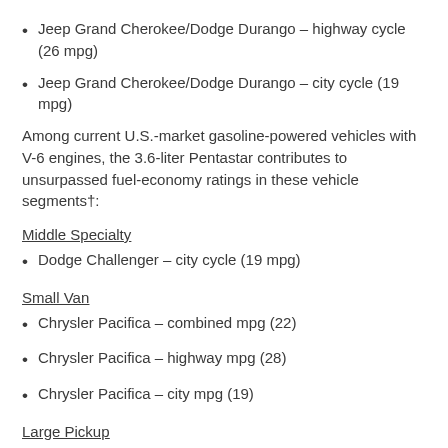Jeep Grand Cherokee/Dodge Durango – highway cycle (26 mpg)
Jeep Grand Cherokee/Dodge Durango – city cycle (19 mpg)
Among current U.S.-market gasoline-powered vehicles with V-6 engines, the 3.6-liter Pentastar contributes to unsurpassed fuel-economy ratings in these vehicle segments†:
Middle Specialty
Dodge Challenger – city cycle (19 mpg)
Small Van
Chrysler Pacifica – combined mpg (22)
Chrysler Pacifica – highway mpg (28)
Chrysler Pacifica – city mpg (19)
Large Pickup
Ram 1500 (with eTorque mild-hybrid technology) – combined/highway mpg (20 mpg)